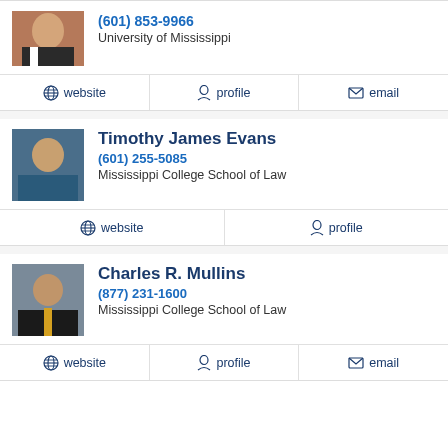(601) 853-9966
University of Mississippi
website | profile | email
Timothy James Evans
(601) 255-5085
Mississippi College School of Law
website | profile
Charles R. Mullins
(877) 231-1600
Mississippi College School of Law
website | profile | email